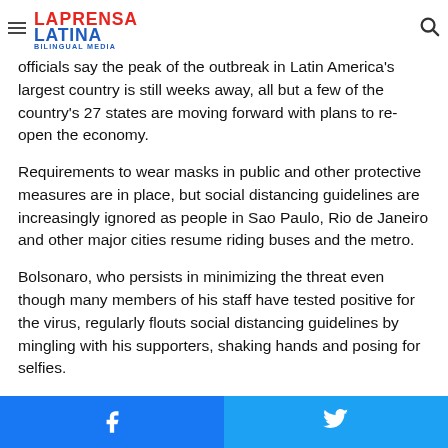La Prensa Latina Bilingual Media — navigation header
...officials say the peak of the outbreak in Latin America's largest country is still weeks away, all but a few of the country's 27 states are moving forward with plans to re-open the economy.
Requirements to wear masks in public and other protective measures are in place, but social distancing guidelines are increasingly ignored as people in Sao Paulo, Rio de Janeiro and other major cities resume riding buses and the metro.
Bolsonaro, who persists in minimizing the threat even though many members of his staff have tested positive for the virus, regularly flouts social distancing guidelines by mingling with his supporters, shaking hands and posing for selfies.
Facebook share | Twitter share